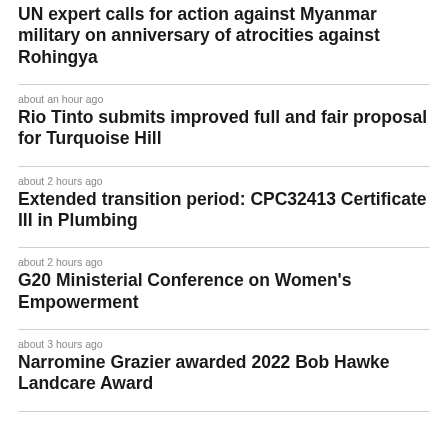UN expert calls for action against Myanmar military on anniversary of atrocities against Rohingya
about an hour ago
Rio Tinto submits improved full and fair proposal for Turquoise Hill
about 2 hours ago
Extended transition period: CPC32413 Certificate III in Plumbing
about 2 hours ago
G20 Ministerial Conference on Women's Empowerment
about 3 hours ago
Narromine Grazier awarded 2022 Bob Hawke Landcare Award